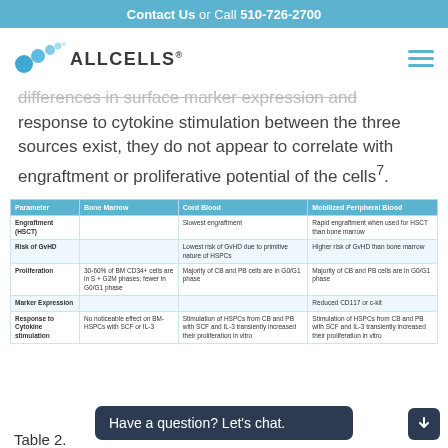Contact Us or Call 510-726-2700
[Figure (logo): AllCells logo with blue circles and company name]
differences in surface marker expression and response to cytokine stimulation between the three sources exist, they do not appear to correlate with engraftment or proliferative potential of the cells⁷.
| Parameter | Bone Marrow | Cord Blood | Mobilized Peripheral Blood |
| --- | --- | --- | --- |
| Engraftment (HSCT) |  | Slowest engraftment | Rapid engraftment when used for HSCT than bone marrow |
| Risk of GvHD |  | Lowest risk of GvHD due to primitive nature of HSPCs | Higher risk of GvHD than bone marrow |
| Proliferation | 30-60% of BM CD34+ cells are in S + G2M phases; fewer in G0/G1 phase | Majority of CB and PB cells are in G0/G1 phase | Majority of CB and PB cells are in G0/G1 phase |
| Marker Expression |  |  | Reduced CD117 or c-kit |
| Response to Cytokine stimulation | No noticeable effect on BM-HSPCs with SCF or IL-3 | Stimulation of HSPCs from CB and PB with SCF and IL-3 transiently increased their proliferation in vitro | Stimulation of HSPCs from CB and PB with SCF and IL-3 transiently increased their proliferation in vitro |
Table 2.